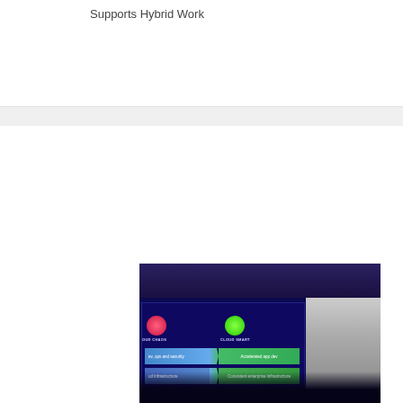Supports Hybrid Work
[Figure (photo): Conference presentation photo showing a slide with 'Cloud Chaos' vs 'Cloud Smart' comparison with blue and green bars for 'Accelerated app dev' and 'Consistent enterprise infrastructure'. A presenter stands to the right of the screen with audience silhouettes in the foreground.]
CLOUD
VMware Explore 2022: Digital Transformation Is Happening in the Cloud